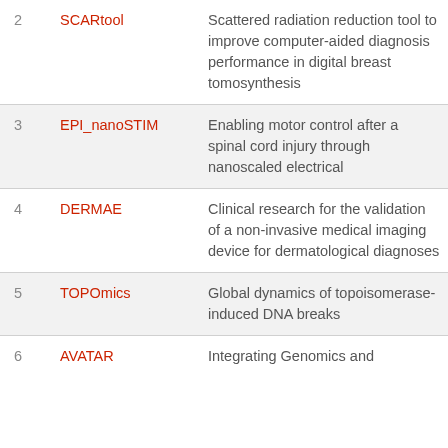| # | Name | Description |
| --- | --- | --- |
| 2 | SCARtool | Scattered radiation reduction tool to improve computer-aided diagnosis performance in digital breast tomosynthesis |
| 3 | EPI_nanoSTIM | Enabling motor control after a spinal cord injury through nanoscaled electrical |
| 4 | DERMAE | Clinical research for the validation of a non-invasive medical imaging device for dermatological diagnoses |
| 5 | TOPOmics | Global dynamics of topoisomerase-induced DNA breaks |
| 6 | AVATAR | Integrating Genomics and |